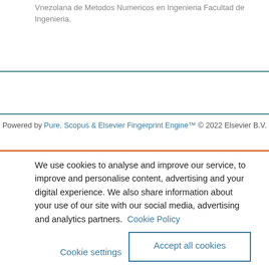Vnezolana de Metodos Numericos en Ingenieria Facultad de Ingenieria.
Powered by Pure, Scopus & Elsevier Fingerprint Engine™ © 2022 Elsevier B.V.
We use cookies to analyse and improve our service, to improve and personalise content, advertising and your digital experience. We also share information about your use of our site with our social media, advertising and analytics partners. Cookie Policy
Cookie settings
Accept all cookies